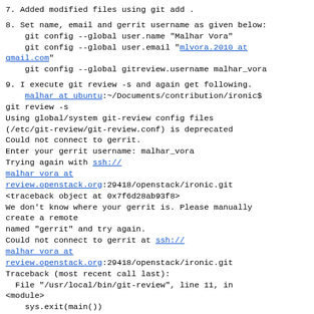7. Added modified files using git add .
8. Set name, email and gerrit username as given below:
    git config --global user.name "Malhar Vora"
    git config --global user.email "mlvora.2010 at gmail.com"
    git config --global gitreview.username malhar_vora
9. I execute git review -s and again get following.
    malhar at ubuntu:~/Documents/contribution/ironic$
git review -s
Using global/system git-review config files
(/etc/git-review/git-review.conf) is deprecated
Could not connect to gerrit.
Enter your gerrit username: malhar_vora
Trying again with ssh://
malhar vora at review.openstack.org:29418/openstack/ironic.git
<traceback object at 0x7f6d28ab93f8>
We don't know where your gerrit is. Please manually
create a remote
named "gerrit" and try again.
Could not connect to gerrit at ssh://
malhar vora at review.openstack.org:29418/openstack/ironic.git
Traceback (most recent call last):
  File "/usr/local/bin/git-review", line 11, in
<module>
    sys.exit(main())